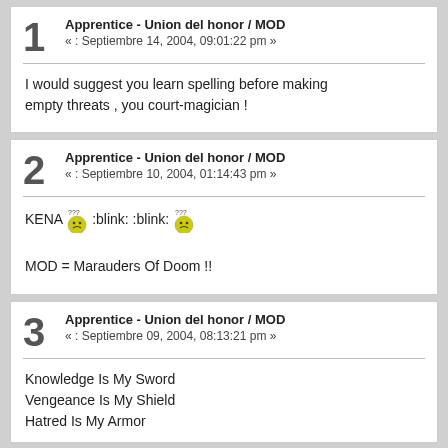1 | Apprentice - Union del honor / MOD
« : Septiembre 14, 2004, 09:01:22 pm »
I would suggest you learn spelling before making empty threats , you court-magician !
2 | Apprentice - Union del honor / MOD
« : Septiembre 10, 2004, 01:14:43 pm »
KENA :confused: :blink:  :blink: :confused:
MOD = Marauders Of Doom !!
3 | Apprentice - Union del honor / MOD
« : Septiembre 09, 2004, 08:13:21 pm »
Knowledge Is My Sword
Vengeance Is My Shield
Hatred Is My Armor